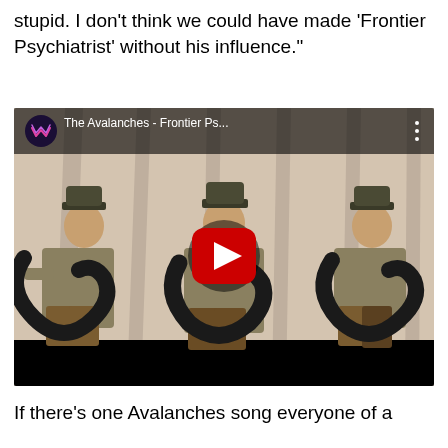stupid. I don't think we could have made 'Frontier Psychiatrist' without his influence."
[Figure (screenshot): YouTube video embed thumbnail showing The Avalanches - Frontier Ps... with three men in alpine hats holding large black tubas/instruments, with a red YouTube play button in the center.]
If there's one Avalanches song everyone of a